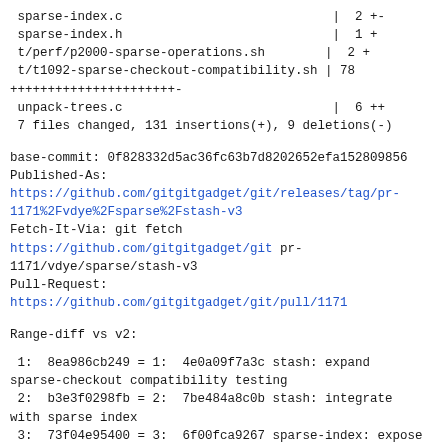sparse-index.c                              |  2 +-
 sparse-index.h                              |  1 +
 t/perf/p2000-sparse-operations.sh          |  2 +
 t/t1092-sparse-checkout-compatibility.sh | 78
++++++++++++++++++++++-
 unpack-trees.c                              |  6 ++
 7 files changed, 131 insertions(+), 9 deletions(-)
base-commit: 0f828332d5ac36fc63b7d8202652efa152809856
Published-As:
https://github.com/gitgitgadget/git/releases/tag/pr-1171%2Fvdye%2Fsparse%2Fstash-v3
Fetch-It-Via: git fetch
https://github.com/gitgitgadget/git pr-1171/vdye/sparse/stash-v3
Pull-Request:
https://github.com/gitgitgadget/git/pull/1171
Range-diff vs v2:
1:  8ea986cb249 = 1:  4e0a09f7a3c stash: expand sparse-checkout compatibility testing
 2:  b3e3f0298fb = 2:  7be484a8c0b stash: integrate with sparse index
 3:  73f04e95400 = 3:  6f00fca9267 sparse-index: expose 'is_sparse_index_allowed()'
 4:  42550f39a75 = 4:  bb092c075f4 read-cache: set sparsity when index is new
 5:  4537d473b93 < -:  ----------- merge-recursive: add